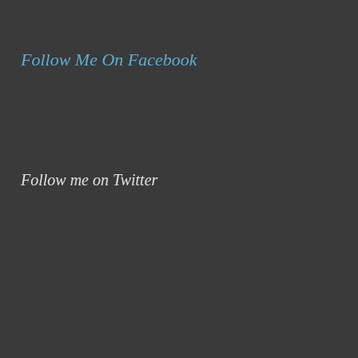Follow Me On Facebook
Follow me on Twitter
[Figure (screenshot): Twitter widget showing 'Tweets from @PlanetOfSovnd' with a Follow button, and a tweet from 'The Planet ...' @Pla... dated Sep 27, 2021 saying 'On Hiatus!' with a link theplanetofsound.net/2021/09/27/on-... and a preview card showing 'THE PLANET OF SOUND' image and 'On Hiatus!' title]